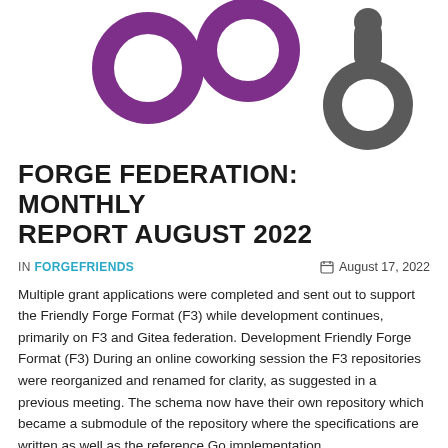[Figure (logo): Two purple circular ring shapes on the left and one gray circular ring shape on the right, forming a logo/illustration against a white background]
FORGE FEDERATION: MONTHLY REPORT AUGUST 2022
IN FORGEFRIENDS   August 17, 2022
Multiple grant applications were completed and sent out to support the Friendly Forge Format (F3) while development continues, primarily on F3 and Gitea federation. Development Friendly Forge Format (F3) During an online coworking session the F3 repositories were reorganized and renamed for clarity, as suggested in a previous meeting. The schema now have their own repository which became a submodule of the repository where the specifications are written as well as the reference Go implementation.